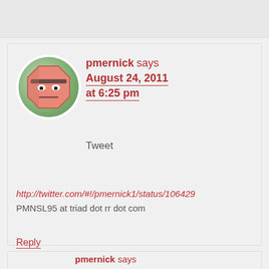pmernick says August 24, 2011 at 6:25 pm
Tweet
http://twitter.com/#!/pmernick1/status/106429... PMNSL95 at triad dot rr dot com
Reply
pmernick says